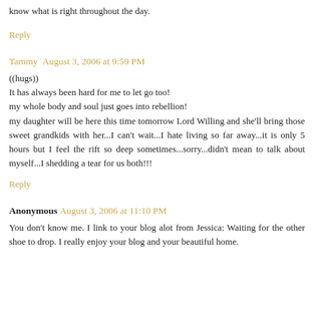know what is right throughout the day.
Reply
Tammy  August 3, 2006 at 9:59 PM
((hugs))
It has always been hard for me to let go too!
my whole body and soul just goes into rebellion!
my daughter will be here this time tomorrow Lord Willing and she'll bring those sweet grandkids with her...I can't wait...I hate living so far away...it is only 5 hours but I feel the rift so deep sometimes...sorry...didn't mean to talk about myself...I shedding a tear for us both!!!
Reply
Anonymous  August 3, 2006 at 11:10 PM
You don't know me. I link to your blog alot from Jessica: Waiting for the other shoe to drop. I really enjoy your blog and your beautiful home.